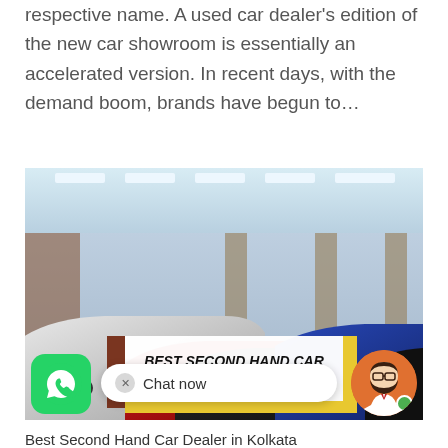respective name. A used car dealer's edition of the new car showroom is essentially an accelerated version. In recent days, with the demand boom, brands have begun to…
[Figure (photo): Interior of a used car showroom in Kolkata with multiple vehicles including white, red, dark, and blue SUVs/cars. An overlay banner reads 'BEST SECOND HAND CAR DEALER IN KOLKATA'. A WhatsApp chat widget and avatar are visible at the bottom.]
Best Second Hand Car Dealer in Kolkata